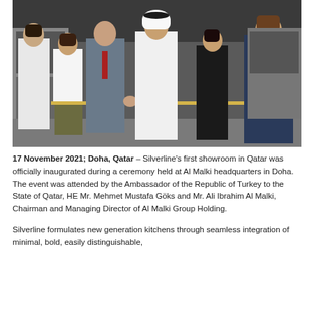[Figure (photo): Group photo of several people standing in front of kitchen appliances at a ribbon-cutting ceremony. A man in a suit and a man in traditional Qatari white thobe are cutting a gold ribbon with red scissors. Several other attendees stand on either side.]
17 November 2021; Doha, Qatar – Silverline's first showroom in Qatar was officially inaugurated during a ceremony held at Al Malki headquarters in Doha. The event was attended by the Ambassador of the Republic of Turkey to the State of Qatar, HE Mr. Mehmet Mustafa Göks and Mr. Ali Ibrahim Al Malki, Chairman and Managing Director of Al Malki Group Holding.
Silverline formulates new generation kitchens through seamless integration of minimal, bold, easily distinguishable,